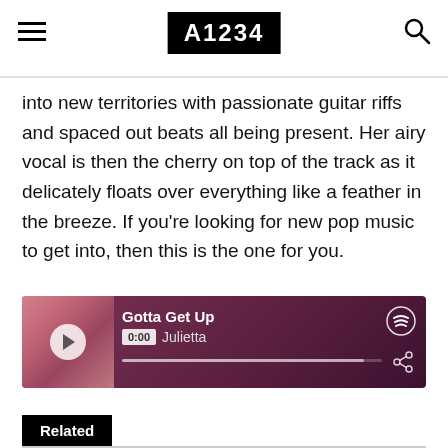A1234
into new territories with passionate guitar riffs and spaced out beats all being present. Her airy vocal is then the cherry on top of the track as it delicately floats over everything like a feather in the breeze. If you're looking for new pop music to get into, then this is the one for you.
[Figure (screenshot): Spotify embedded player showing track 'Gotta Get Up' by Julietta, with album art thumbnail, play button, 0:00 timestamp, progress bar, Spotify logo icon, and share icon, on a dark purple/maroon gradient background.]
Related